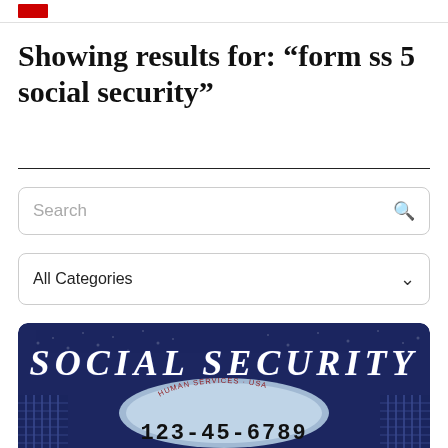Showing results for: “form ss 5 social security”
[Figure (screenshot): Search input box with placeholder text 'Search' and a magnifying glass icon on the right]
[Figure (screenshot): Dropdown selector showing 'All Categories' with a chevron arrow on the right]
[Figure (photo): Social Security card with dark blue background, large white italic text 'SOCIAL SECURITY' at the top, an eagle emblem in the center with 'HUMAN SERVICES USA' text, and the number '123-45-6789' at the bottom. Decorative column pillars on left and right sides.]